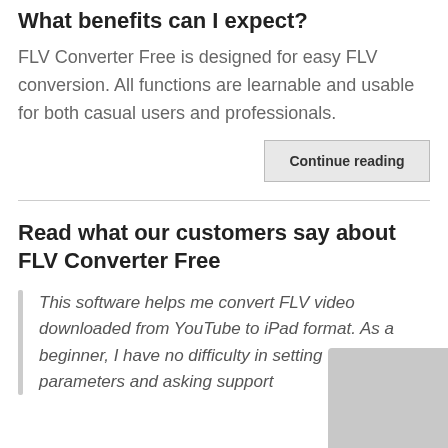What benefits can I expect?
FLV Converter Free is designed for easy FLV conversion. All functions are learnable and usable for both casual users and professionals.
Continue reading
Read what our customers say about FLV Converter Free
This software helps me convert FLV video downloaded from YouTube to iPad format. As a beginner, I have no difficulty in setting the parameters and asking support